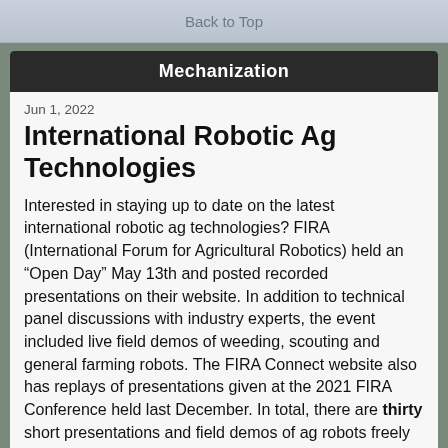Back to Top
Mechanization
Jun 1, 2022
International Robotic Ag Technologies
Interested in staying up to date on the latest international robotic ag technologies? FIRA (International Forum for Agricultural Robotics) held an “Open Day” May 13th and posted recorded presentations on their website. In addition to technical panel discussions with industry experts, the event included live field demos of weeding, scouting and general farming robots. The FIRA Connect website also has replays of presentations given at the 2021 FIRA Conference held last December. In total, there are thirty short presentations and field demos of ag robots freely available. About 1/3rd of the